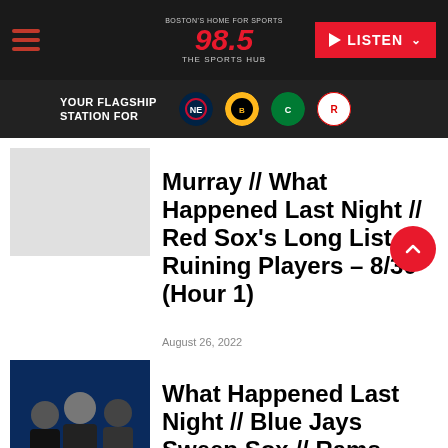98.5 The Sports Hub — Boston's Home for Sports
YOUR FLAGSHIP STATION FOR
Murray // What Happened Last Night // Red Sox's Long List of Ruining Players – 8/30 (Hour 1)
August 26, 2022
What Happened Last Night // Blue Jays Sweep Sox // Rams-